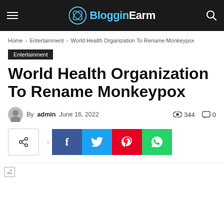BlogginEarm
Home › Entertainment › World Health Organization To Rename Monkeypox
Entertainment
World Health Organization To Rename Monkeypox
By admin  June 16, 2022  344  0
[Figure (other): Social sharing buttons: share toggle, Facebook, Twitter, Pinterest, WhatsApp]
[Figure (photo): Article image placeholder (broken image icon)]